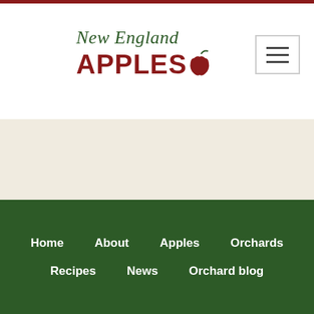[Figure (logo): New England Apples logo with stylized apple icon in dark red and green serif/sans-serif text]
[Figure (other): Hamburger menu button (three horizontal lines) in top right corner]
[Figure (other): Cream/beige background section below header]
[Figure (other): Medium green background section]
Home  About  Apples  Orchards  Recipes  News  Orchard blog